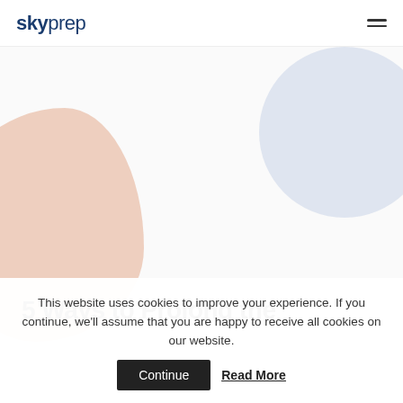skyprep
[Figure (illustration): Decorative abstract blob shapes: a blue-grey circle in the upper right and a peach/salmon organic blob shape on the left side of the page, serving as background decoration for a blog post header.]
5 Ways to Prolong the
This website uses cookies to improve your experience. If you continue, we'll assume that you are happy to receive all cookies on our website.  Continue  Read More